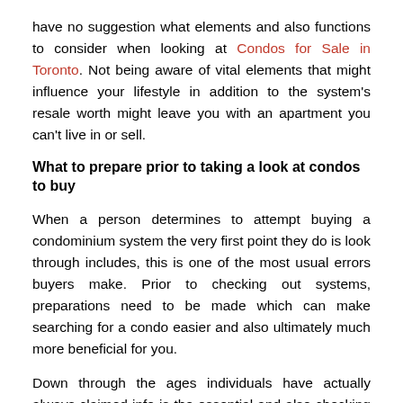have no suggestion what elements and also functions to consider when looking at Condos for Sale in Toronto. Not being aware of vital elements that might influence your lifestyle in addition to the system's resale worth might leave you with an apartment you can't live in or sell.
What to prepare prior to taking a look at condos to buy
When a person determines to attempt buying a condominium system the very first point they do is look through includes, this is one of the most usual errors buyers make. Prior to checking out systems, preparations need to be made which can make searching for a condo easier and also ultimately much more beneficial for you.
Down through the ages individuals have actually always claimed info is the essential and also checking out apartments offer for sale is no different. Prior to checking out different devices work with a knowledgeable realtor. She or he will have the ability to provide you indispensable suggestions plus his or